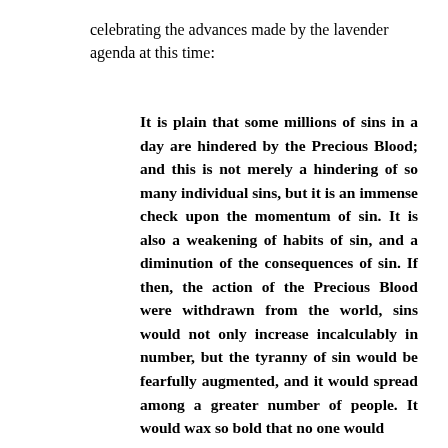celebrating the advances made by the lavender agenda at this time:
It is plain that some millions of sins in a day are hindered by the Precious Blood; and this is not merely a hindering of so many individual sins, but it is an immense check upon the momentum of sin. It is also a weakening of habits of sin, and a diminution of the consequences of sin. If then, the action of the Precious Blood were withdrawn from the world, sins would not only increase incalculably in number, but the tyranny of sin would be fearfully augmented, and it would spread among a greater number of people. It would wax so bold that no one would